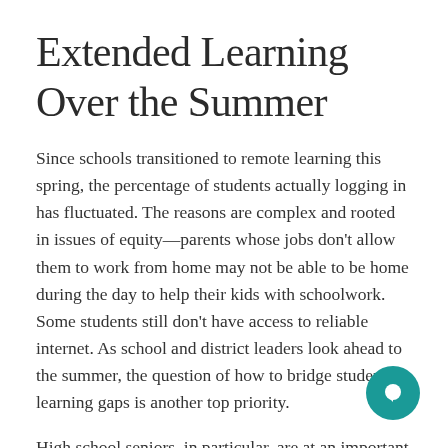Extended Learning Over the Summer
Since schools transitioned to remote learning this spring, the percentage of students actually logging in has fluctuated. The reasons are complex and rooted in issues of equity—parents whose jobs don't allow them to work from home may not be able to be home during the day to help their kids with schoolwork. Some students still don't have access to reliable internet. As school and district leaders look ahead to the summer, the question of how to bridge students' learning gaps is another top priority.
High school seniors, in particular, are at an important crossroads. Whether they are going on to